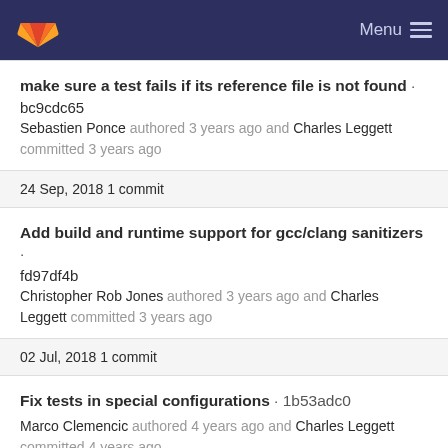Menu
make sure a test fails if its reference file is not found · bc9cdc65
Sebastien Ponce authored 3 years ago and Charles Leggett committed 3 years ago
24 Sep, 2018 1 commit
Add build and runtime support for gcc/clang sanitizers · fd97df4b
Christopher Rob Jones authored 3 years ago and Charles Leggett committed 3 years ago
02 Jul, 2018 1 commit
Fix tests in special configurations · 1b53adc0
Marco Clemencic authored 4 years ago and Charles Leggett committed 4 years ago
10 Apr, 2018 1 commit